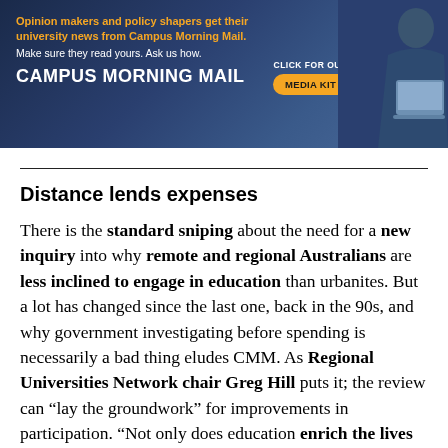[Figure (infographic): Campus Morning Mail advertisement banner with dark blue background, orange and white text, a 'MEDIA KIT' button in orange, and a silhouette of a person with a laptop on the right side.]
Distance lends expenses
There is the standard sniping about the need for a new inquiry into why remote and regional Australians are less inclined to engage in education than urbanites. But a lot has changed since the last one, back in the 90s, and why government investigating before spending is necessarily a bad thing eludes CMM. As Regional Universities Network chair Greg Hill puts it; the review can “lay the groundwork” for improvements in participation. “Not only does education enrich the lives of individuals, their families and communities, better educated regional Australians will help regional economies